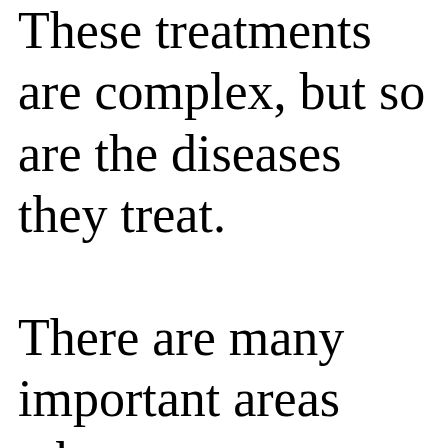These treatments are complex, but so are the diseases they treat.

There are many important areas where